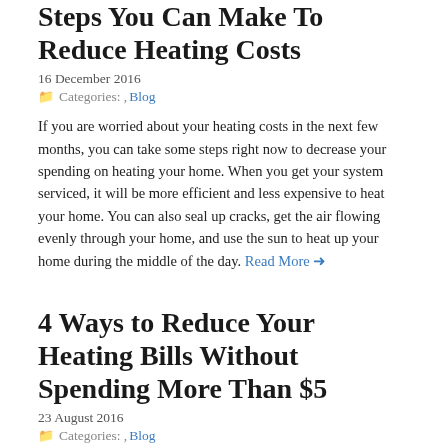Steps You Can Make To Reduce Heating Costs
16 December 2016
Categories: , Blog
If you are worried about your heating costs in the next few months, you can take some steps right now to decrease your spending on heating your home. When you get your system serviced, it will be more efficient and less expensive to heat your home. You can also seal up cracks, get the air flowing evenly through your home, and use the sun to heat up your home during the middle of the day. Read More →
4 Ways to Reduce Your Heating Bills Without Spending More Than $5
23 August 2016
Categories: , Blog
Everyone wants to keep their heating bills in check. After all, it's silly to pay more to heat your home than you have